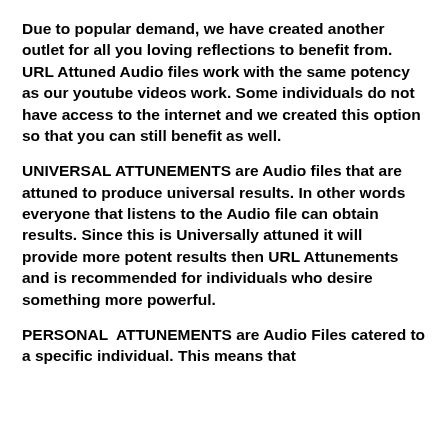Due to popular demand, we have created another outlet for all you loving reflections to benefit from. URL Attuned Audio files work with the same potency as our youtube videos work. Some individuals do not have access to the internet and we created this option so that you can still benefit as well.
UNIVERSAL ATTUNEMENTS are Audio files that are attuned to produce universal results. In other words everyone that listens to the Audio file can obtain results. Since this is Universally attuned it will provide more potent results then URL Attunements and is recommended for individuals who desire something more powerful.
PERSONAL ATTUNEMENTS are Audio Files catered to a specific individual. This means that